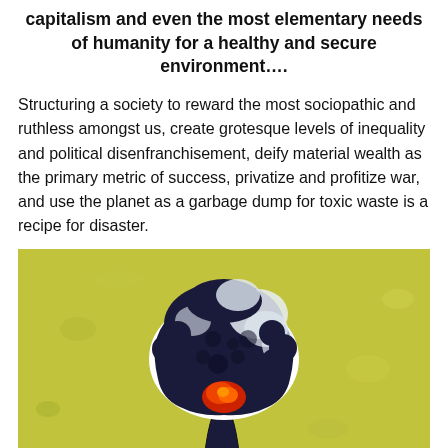capitalism and even the most elementary needs of humanity for a healthy and secure environment....
Structuring a society to reward the most sociopathic and ruthless amongst us, create grotesque levels of inequality and political disenfranchisement, deify material wealth as the primary metric of success, privatize and profitize war, and use the planet as a garbage dump for toxic waste is a recipe for disaster.
[Figure (illustration): Graffiti-style illustration of a nuclear mushroom cloud on a yellow-green textured background. The mushroom cloud is dark navy/black with white highlights and an orange-red fiery core at the base.]